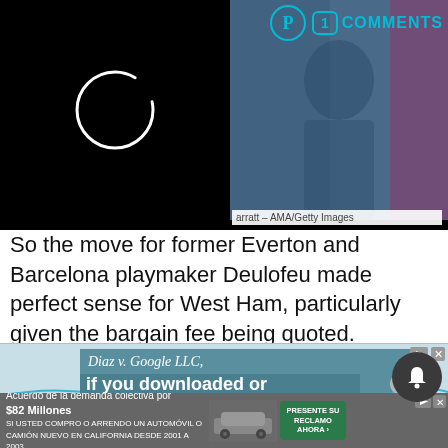[Figure (screenshot): Top portion showing a loading spinner (white circle on black background) on left, and a partially visible photo of a person on the right with comments/social UI overlay showing Pinterest icon, badge '1', and 'COMMENTS' text in cyan]
arratt – AMA/Getty Images
So the move for former Everton and Barcelona playmaker Deulofeu made perfect sense for West Ham, particularly given the bargain fee being quoted.
If Moyes really was interested in Deulofeu then it looks like a case of another one bites the dust.
[Figure (screenshot): Advertisement for 'Diaz v. Google LLC, Case No. 5:21-cv-03080-NC' with text 'If you downloaded or' visible, on teal/blue background with wave graphic and X close button]
[Figure (screenshot): Bottom advertisement: 'Acuerdo de la demanda colectiva por $82 Millones SI USTED COMPRO O ARRENDO UN AUTOMÓVIL O CAMIÓN NUEVO EN CALIFORNIA DESDE 2001 A 2003' with car image and 'PRESENTE SU RECLAMO AHORA' button]